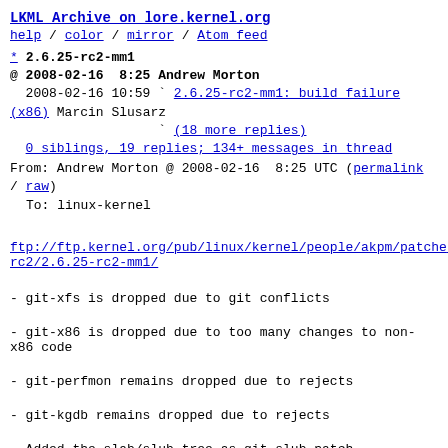LKML Archive on lore.kernel.org
help / color / mirror / Atom feed
* 2.6.25-rc2-mm1
@ 2008-02-16  8:25 Andrew Morton
  2008-02-16 10:59 ` 2.6.25-rc2-mm1: build failure (x86) Marcin Slusarz
                   ` (18 more replies)
  0 siblings, 19 replies; 134+ messages in thread
From: Andrew Morton @ 2008-02-16  8:25 UTC (permalink / raw)
    To: linux-kernel
ftp://ftp.kernel.org/pub/linux/kernel/people/akpm/patches/2.6.25-rc2/2.6.25-rc2-mm1/
- git-xfs is dropped due to git conflicts
- git-x86 is dropped due to too many changes to non-x86 code
- git-perfmon remains dropped due to rejects
- git-kgdb remains dropped due to rejects
- Added the slab/slub tree as git-slub.patch (Christoph Lameter)